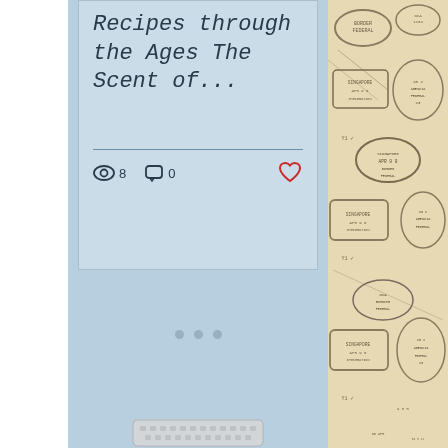Recipes through the Ages The Scent of...
8 views  0 comments  Like
[Figure (infographic): Pagination indicator with three dots]
[Figure (illustration): Decorative background with passport stamps pattern in tan/beige color on right side]
[Figure (screenshot): Keyboard or input bar hint visible at bottom center]